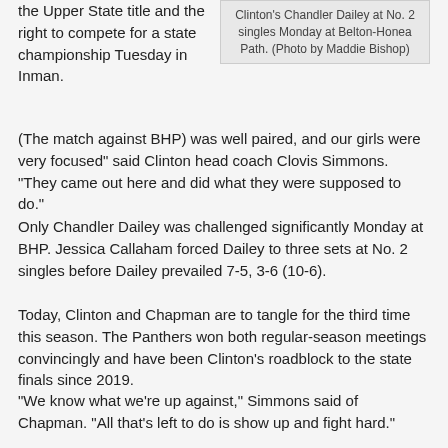the Upper State title and the right to compete for a state championship Tuesday in Inman.
Clinton's Chandler Dailey at No. 2 singles Monday at Belton-Honea Path. (Photo by Maddie Bishop)
(The match against BHP) was well paired, and our girls were very focused” said Clinton head coach Clovis Simmons. “They came out here and did what they were supposed to do.”
Only Chandler Dailey was challenged significantly Monday at BHP. Jessica Callaham forced Dailey to three sets at No. 2 singles before Dailey prevailed 7-5, 3-6 (10-6).
Today, Clinton and Chapman are to tangle for the third time this season. The Panthers won both regular-season meetings convincingly and have been Clinton’s roadblock to the state finals since 2019.
“We know what we’re up against,” Simmons said of Chapman. “All that’s left to do is show up and fight hard.”
Here are results from Monday’s playoff match at BHP:
Clinton 6, Belton-Honea Path 0